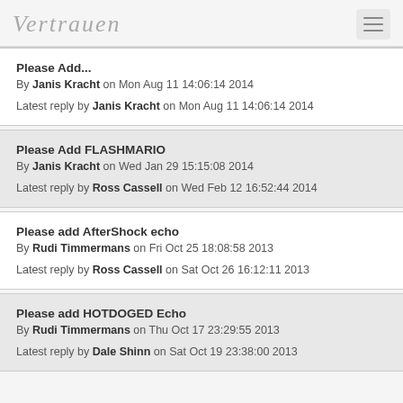Vertrauen
Please Add...
By Janis Kracht on Mon Aug 11 14:06:14 2014
Latest reply by Janis Kracht on Mon Aug 11 14:06:14 2014
Please Add FLASHMARIO
By Janis Kracht on Wed Jan 29 15:15:08 2014
Latest reply by Ross Cassell on Wed Feb 12 16:52:44 2014
Please add AfterShock echo
By Rudi Timmermans on Fri Oct 25 18:08:58 2013
Latest reply by Ross Cassell on Sat Oct 26 16:12:11 2013
Please add HOTDOGED Echo
By Rudi Timmermans on Thu Oct 17 23:29:55 2013
Latest reply by Dale Shinn on Sat Oct 19 23:38:00 2013